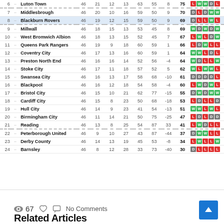| # |  | Team | P | W | D | L | F | A | GD | Pts | Form |
| --- | --- | --- | --- | --- | --- | --- | --- | --- | --- | --- | --- |
| 6 | – | Luton Town | 46 | 21 | 12 | 13 | 63 | 55 | 8 | 75 | L W W D L |
| 7 | – | Middlesbrough | 46 | 20 | 10 | 16 | 59 | 50 | 9 | 70 | D L D W W |
| 8 | – | Blackburn Rovers | 46 | 19 | 12 | 15 | 59 | 50 | 9 | 69 | D L L W L |
| 9 | – | Millwall | 46 | 18 | 15 | 13 | 53 | 45 | 8 | 69 | W D W D W |
| 10 | – | West Bromwich Albion | 46 | 18 | 13 | 15 | 52 | 45 | 7 | 67 | L W L D W |
| 11 | – | Queens Park Rangers | 46 | 19 | 9 | 18 | 60 | 59 | 1 | 66 | L D W L L |
| 12 | – | Coventry City | 46 | 17 | 13 | 16 | 60 | 59 | 1 | 64 | W W L D L |
| 13 | – | Preston North End | 46 | 16 | 16 | 14 | 52 | 56 | -4 | 64 | W D L L W |
| 14 | – | Stoke City | 46 | 17 | 11 | 18 | 57 | 52 | 5 | 62 | W L W W L |
| 15 | – | Swansea City | 46 | 16 | 13 | 17 | 58 | 68 | -10 | 61 | D D D D L |
| 16 | – | Blackpool | 46 | 16 | 12 | 18 | 54 | 58 | -4 | 60 | L W D W L |
| 17 | – | Bristol City | 46 | 15 | 10 | 21 | 62 | 77 | -15 | 55 | D W D W W |
| 18 | – | Cardiff City | 46 | 15 | 8 | 23 | 50 | 68 | -18 | 53 | L D L L D |
| 19 | – | Hull City | 46 | 14 | 9 | 23 | 41 | 54 | -13 | 51 | W W L W L |
| 20 | – | Birmingham City | 46 | 11 | 14 | 21 | 50 | 75 | -25 | 47 | L D L D D |
| 21 | – | Reading | 46 | 13 | 8 | 25 | 54 | 87 | 33 | 41 | L W D L L |
| 22 | – | Peterborough United | 46 | 9 | 10 | 27 | 43 | 87 | -44 | 37 | D W W L L |
| 23 | – | Derby County | 46 | 14 | 13 | 19 | 45 | 53 | -8 | 34 | L W L L W |
| 24 | – | Barnsley | 46 | 8 | 12 | 28 | 33 | 73 | -40 | 30 | D L L L L |
👁 67   ♡   💬 No Comments